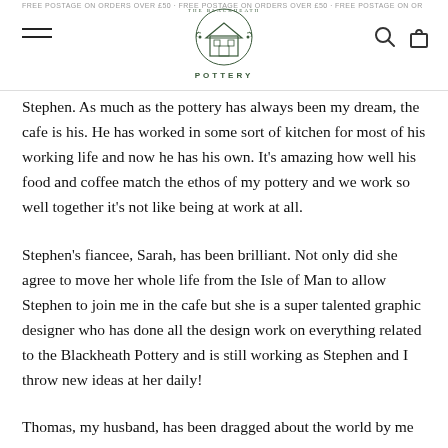The Blackheath Pottery — navigation header with logo, search and bag icons
Stephen. As much as the pottery has always been my dream, the cafe is his. He has worked in some sort of kitchen for most of his working life and now he has his own. It's amazing how well his food and coffee match the ethos of my pottery and we work so well together it's not like being at work at all.
Stephen's fiancee, Sarah, has been brilliant. Not only did she agree to move her whole life from the Isle of Man to allow Stephen to join me in the cafe but she is a super talented graphic designer who has done all the design work on everything related to the Blackheath Pottery and is still working as Stephen and I throw new ideas at her daily!
Thomas, my husband, has been dragged about the world by me